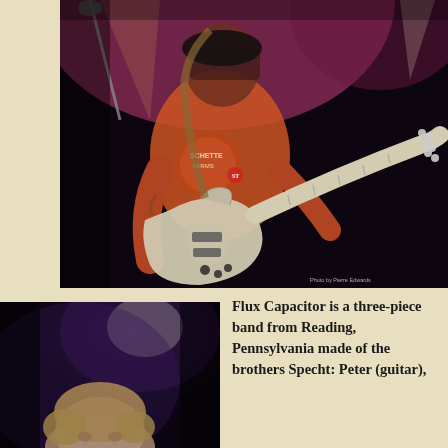[Figure (photo): A guitarist on stage wearing an orange t-shirt (Schette Farms) playing a white electric guitar under purple/pink stage lighting. A microphone stand is visible to the left. Small text in lower right reads 'Photo by Pierre Edwards'.]
[Figure (photo): A performer on stage in dark lighting with a bright spotlight in the background. The person's head/face is partially visible at the bottom of frame.]
Flux Capacitor is a three-piece band from Reading, Pennsylvania made of the brothers Specht: Peter (guitar),